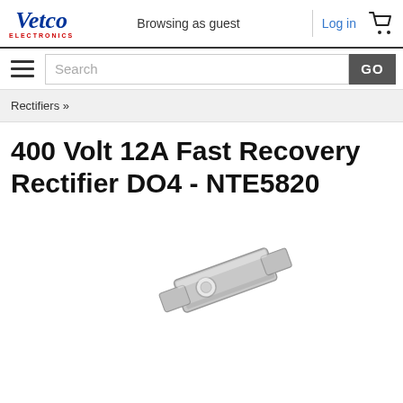Vetco Electronics — Browsing as guest — Log in
Search
Rectifiers »
400 Volt 12A Fast Recovery Rectifier DO4 - NTE5820
[Figure (photo): Product photo of a metallic fast recovery rectifier component (DO4 package), silver/grey colored with a hole and two tabs, shown at an angle.]